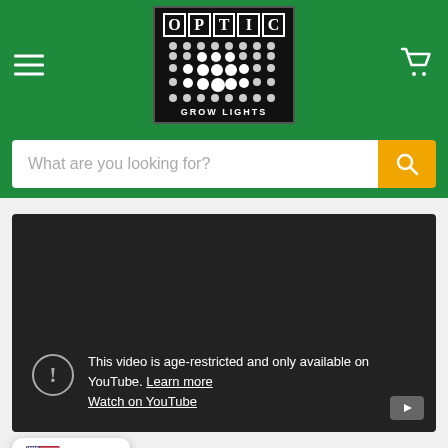[Figure (logo): Optic Grow Lights logo: black box with white letters O P T I C at top, grid of white dots below, GROW LIGHTS text at bottom]
What are you looking for?
[Figure (screenshot): YouTube video embed showing age restriction message: 'This video is age-restricted and only available on YouTube. Learn more' and 'Watch on YouTube' link. YouTube play icon in bottom right corner.]
USD >